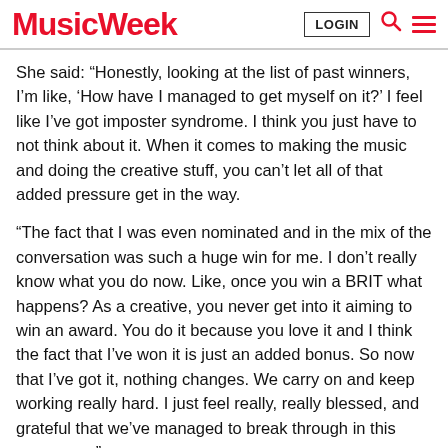Music Week | LOGIN
She said: “Honestly, looking at the list of past winners, I’m like, ‘How have I managed to get myself on it?’ I feel like I’ve got imposter syndrome. I think you just have to not think about it. When it comes to making the music and doing the creative stuff, you can’t let all of that added pressure get in the way.
“The fact that I was even nominated and in the mix of the conversation was such a huge win for me. I don’t really know what you do now. Like, once you win a BRIT what happens? As a creative, you never get into it aiming to win an award. You do it because you love it and I think the fact that I’ve won it is just an added bonus. So now that I’ve got it, nothing changes. We carry on and keep working really hard. I just feel really, really blessed, and grateful that we’ve managed to break through in this crazy year.
Hertfordshire-raised Griff, who was nominated for the inaugural Rising Star award at the Ivor Novellos last year, is scheduled to hit the road in October, with shows lined up at venues such as Glasgow’s King Tut’s Wah Wah Hut, The Deaf Institute in Manchester, O2 Academy Birmingham and London’s Heaven.